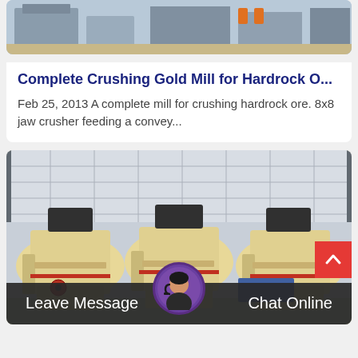[Figure (photo): Partial view of industrial crushing/mining equipment outdoors, top portion of image card]
Complete Crushing Gold Mill for Hardrock O...
Feb 25, 2013 A complete mill for crushing hardrock ore. 8x8 jaw crusher feeding a convey...
[Figure (photo): Three large industrial cone crusher machines (cream/yellow colored) lined up in front of a building]
Leave Message   Chat Online